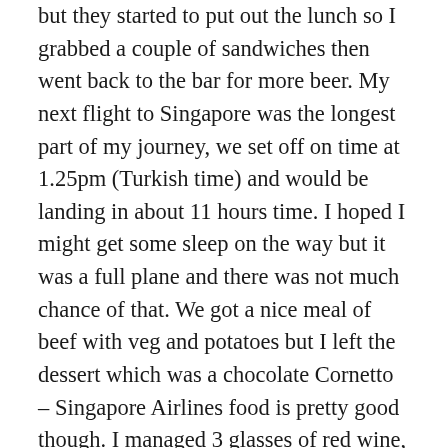but they started to put out the lunch so I grabbed a couple of sandwiches then went back to the bar for more beer. My next flight to Singapore was the longest part of my journey, we set off on time at 1.25pm (Turkish time) and would be landing in about 11 hours time. I hoped I might get some sleep on the way but it was a full plane and there was not much chance of that. We got a nice meal of beef with veg and potatoes but I left the dessert which was a chocolate Cornetto – Singapore Airlines food is pretty good though. I managed 3 glasses of red wine, seeing as it was free but then there was a bit of turbulence and we all had to sit down for a few hours. The woman next to me was from Indonesia and spoke no English so that was a bonus, her daughter at the other side of her was nice and polite. She told me of a secret waterfall near Dait, where she lives in West Kalimantan